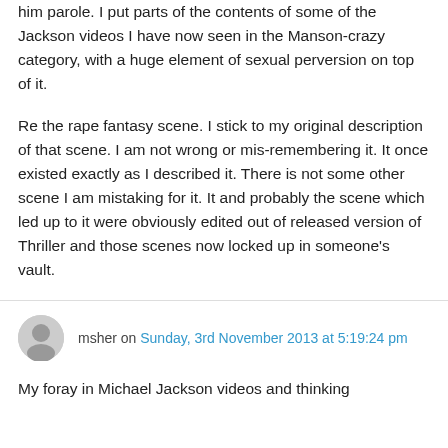him parole. I put parts of the contents of some of the Jackson videos I have now seen in the Manson-crazy category, with a huge element of sexual perversion on top of it.

Re the rape fantasy scene. I stick to my original description of that scene. I am not wrong or mis-remembering it. It once existed exactly as I described it. There is not some other scene I am mistaking for it. It and probably the scene which led up to it were obviously edited out of released version of Thriller and those scenes now locked up in someone's vault.
msher on Sunday, 3rd November 2013 at 5:19:24 pm
My foray in Michael Jackson videos and thinking